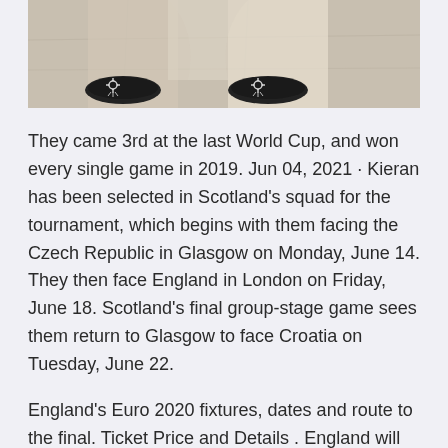[Figure (photo): A partial photo showing the lower portion of a person's outfit — black shoes with a skeleton/bone print design, on a light concrete surface background.]
They came 3rd at the last World Cup, and won every single game in 2019. Jun 04, 2021 · Kieran has been selected in Scotland's squad for the tournament, which begins with them facing the Czech Republic in Glasgow on Monday, June 14. They then face England in London on Friday, June 18. Scotland's final group-stage game sees them return to Glasgow to face Croatia on Tuesday, June 22.
England's Euro 2020 fixtures, dates and route to the final. Ticket Price and Details . England will take on Scotland in their second group stage game of UEFA Prices are set by sellers and may be above or below